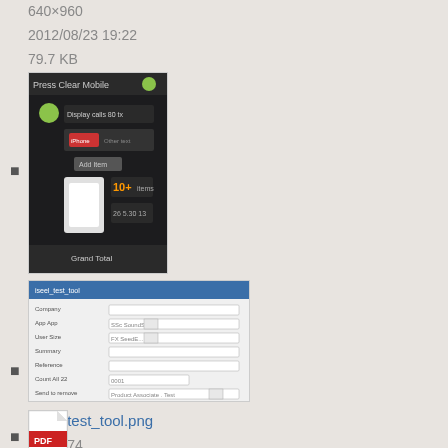640×960
2012/08/23 19:22
79.7 KB
[Figure (screenshot): Thumbnail screenshot of a mobile app dashboard (dark theme, iPhone)]
iphonedashboard.png
637×999
2014/03/12 20:22
63.7 KB
[Figure (screenshot): Thumbnail screenshot of a web form/tool with blue header and form fields]
iseel_test_tool.png
556×474
2014/08/25 19:12
17.6 KB
[Figure (illustration): PDF file icon (red and white)]